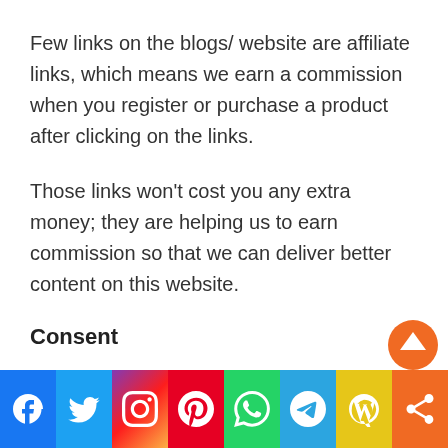Few links on the blogs/ website are affiliate links, which means we earn a commission when you register or purchase a product after clicking on the links.
Those links won't cost you any extra money; they are helping us to earn commission so that we can deliver better content on this website.
Consent
[Figure (infographic): Social media sharing bar with icons: Facebook (blue), Twitter (light blue), Instagram (gradient purple-red-orange), Pinterest (red), WhatsApp (green), Telegram (blue), WordPress/chain link (yellow-green), Share (orange)]